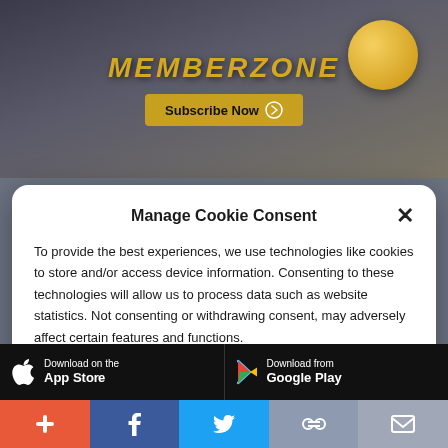[Figure (screenshot): MemberZone banner with 'Subscribe Now' button and decorative lock/coin imagery on dark background]
Manage Cookie Consent
To provide the best experiences, we use technologies like cookies to store and/or access device information. Consenting to these technologies will allow us to process data such as website statistics. Not consenting or withdrawing consent, may adversely affect certain features and functions.
Accept
Cookie Policy  Privacy Policy
[Figure (screenshot): App store download buttons: 'Download on the App Store' and 'Download from Google Play']
[Figure (infographic): Social sharing bottom bar with buttons: + (add), Facebook, Twitter, link/share, email]